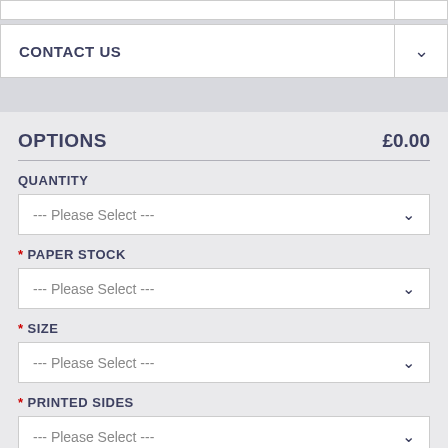CONTACT US
OPTIONS £0.00
QUANTITY
--- Please Select ---
* PAPER STOCK
--- Please Select ---
* SIZE
--- Please Select ---
* PRINTED SIDES
--- Please Select ---